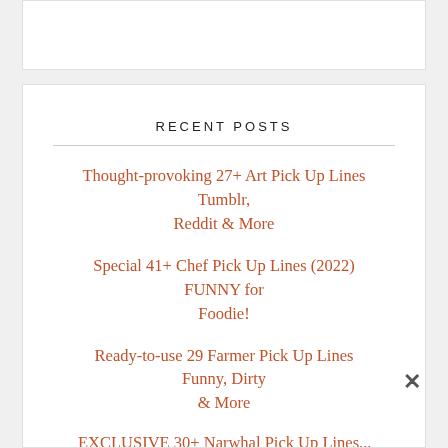[Figure (other): White box at top, partially visible, content not shown]
RECENT POSTS
Thought-provoking 27+ Art Pick Up Lines Tumblr, Reddit & More
Special 41+ Chef Pick Up Lines (2022) FUNNY for Foodie!
Ready-to-use 29 Farmer Pick Up Lines Funny, Dirty & More
EXCLUSIVE 30+ Narwhal Pick Up Lines...